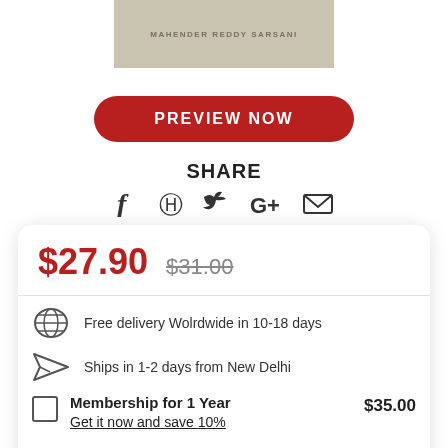[Figure (photo): Partial book cover image showing text 'MAHENDER REDDY SARSANI' on a beige/gray background]
PREVIEW NOW
SHARE
[Figure (infographic): Social media icons: Facebook (f), Pinterest (P), Twitter bird, Google+ (G+), Email (envelope)]
$27.90  $31.00
Free delivery Wolrdwide in 10-18 days
Ships in 1-2 days from New Delhi
Membership for 1 Year Get it now and save 10%  $35.00
ADD TO CART